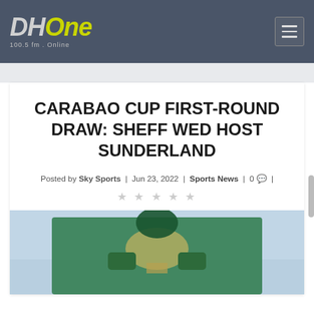DH One 100.5 fm . Online
CARABAO CUP FIRST-ROUND DRAW: SHEFF WED HOST SUNDERLAND
Posted by Sky Sports | Jun 23, 2022 | Sports News | 0 |
[Figure (photo): Photo of a person holding the Carabao Cup trophy, wearing green clothing, outdoors.]